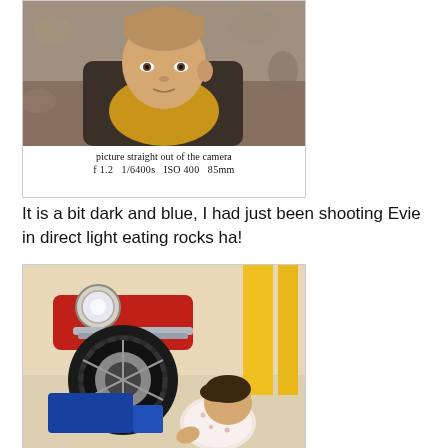[Figure (photo): Photo of a young toddler boy with blond hair wearing a yellow/mustard top, shot with a blurry background. Below the photo: text 'picture straight out of the camera' and 'f1.2  1/6400s  ISO 400  85mm']
It is a bit dark and blue, I had just been shooting Evie in direct light eating rocks ha!
[Figure (photo): Photo of a baby girl in a white floral outfit crawling on the ground, next to a vintage toy motorcycle or ride-on vehicle with yellow and red colors and a large wheel/tire visible.]